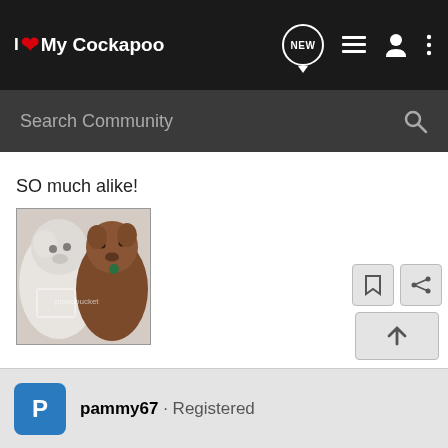I Love My Cockapoo
Search Community
SO much alike!
[Figure (photo): Two dogs side by side — a light-colored fluffy dog on the left and a brown curly-haired dog on the right, photo has a photobucket watermark]
pammy67 · Registered